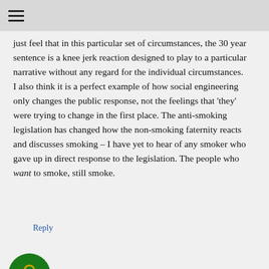≡
just feel that in this particular set of circumstances, the 30 year sentence is a knee jerk reaction designed to play to a particular narrative without any regard for the individual circumstances.
I also think it is a perfect example of how social engineering only changes the public response, not the feelings that 'they' were trying to change in the first place. The anti-smoking legislation has changed how the non-smoking faternity reacts and discusses smoking – I have yet to hear of any smoker who gave up in direct response to the legislation. The people who want to smoke, still smoke.
Reply
[Figure (illustration): Green circular avatar/badge with a gold symbol in the center, partially visible at the bottom of the page]